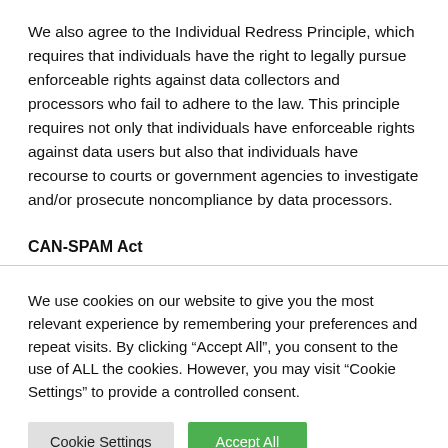We also agree to the Individual Redress Principle, which requires that individuals have the right to legally pursue enforceable rights against data collectors and processors who fail to adhere to the law. This principle requires not only that individuals have enforceable rights against data users but also that individuals have recourse to courts or government agencies to investigate and/or prosecute noncompliance by data processors.
CAN-SPAM Act
We use cookies on our website to give you the most relevant experience by remembering your preferences and repeat visits. By clicking “Accept All”, you consent to the use of ALL the cookies. However, you may visit “Cookie Settings” to provide a controlled consent.